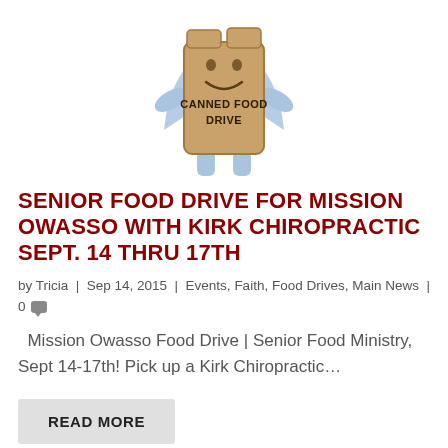[Figure (illustration): Cartoon illustration of an anthropomorphized cardboard box labeled 'CANNED FOOD DRIVE' with arms and legs, wearing a cape, with a smiley face.]
SENIOR FOOD DRIVE FOR MISSION OWASSO WITH KIRK CHIROPRACTIC SEPT. 14 THRU 17TH
by Tricia | Sep 14, 2015 | Events, Faith, Food Drives, Main News | 0
Mission Owasso Food Drive | Senior Food Ministry, Sept 14-17th! Pick up a Kirk Chiropractic...
READ MORE